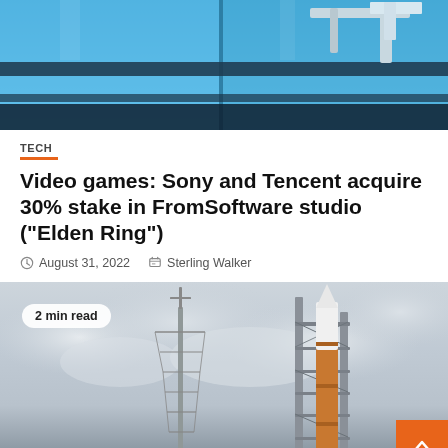[Figure (photo): Top portion of a building with blue glass facade and architectural metalwork, partly visible at top of page]
TECH
Video games: Sony and Tencent acquire 30% stake in FromSoftware studio (“Elden Ring”)
August 31, 2022   Sterling Walker
[Figure (photo): NASA rocket (SLS) on launch pad with service tower, shot against dramatic cloudy sky. Badge reading '2 min read' overlaid at top left. Orange back-to-top button at bottom right.]